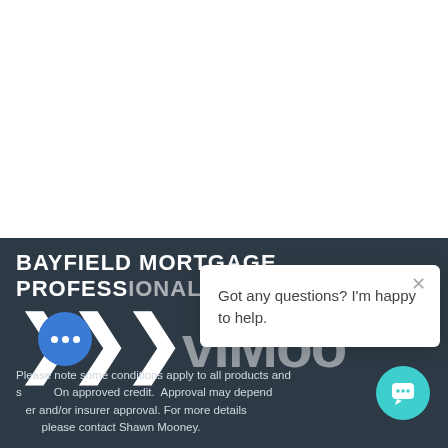[Figure (logo): Bayfield Mortgage Professionals logo with stylized arrow chevrons and company name on dark navy background]
Got any questions? I'm happy to help.
Please note some conditions apply to all products and s... On approved credit. Approval may depend... er and/or insurer approval. For more details please contact Shawn Mooney.